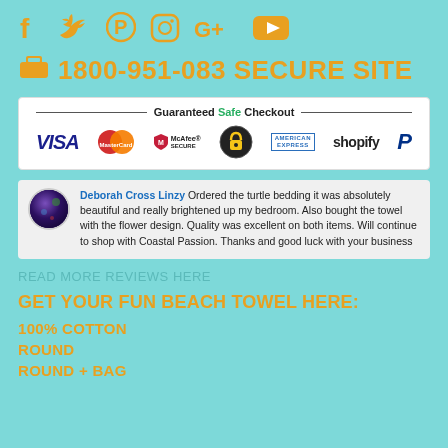[Figure (other): Social media icons: Facebook, Twitter, Pinterest, Instagram, Google+, YouTube in orange/gold color]
📞 1800-951-083 SECURE SITE
[Figure (other): Guaranteed Safe Checkout badge with payment logos: VISA, MasterCard, McAfee SECURE, Norton, American Express, Shopify, PayPal]
Deborah Cross Linzy Ordered the turtle bedding it was absolutely beautiful and really brightened up my bedroom. Also bought the towel with the flower design. Quality was excellent on both items. Will continue to shop with Coastal Passion. Thanks and good luck with your business
READ MORE REVIEWS HERE
GET YOUR FUN BEACH TOWEL HERE:
100% COTTON
ROUND
ROUND + BAG